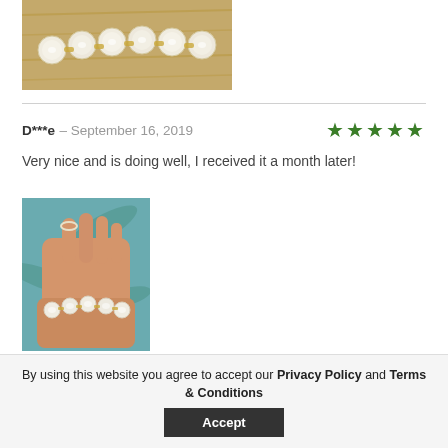[Figure (photo): Close-up photo of a pearl bracelet with gold links on a wooden surface]
D***e – September 16, 2019  ★★★★★
Very nice and is doing well, I received it a month later!
[Figure (photo): Photo of a hand wearing a pearl bracelet, shown against a teal/tropical background]
By using this website you agree to accept our Privacy Policy and Terms & Conditions
Accept